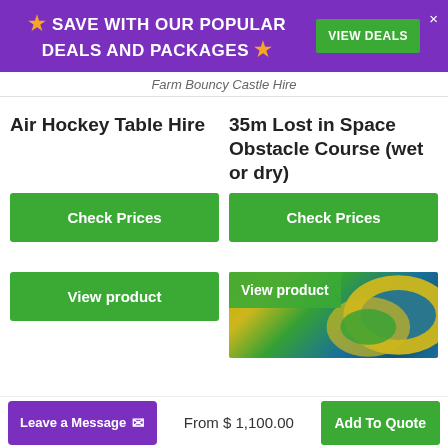★ SAVE WITH OUR POPULAR DEALS AND PACKAGES ★  VIEW DEALS
Farm Bouncy Castle Hire
Air Hockey Table Hire
35m Lost in Space Obstacle Course (wet or dry)
Check Prices
Check Prices
View product
[Figure (photo): Inflatable obstacle course with yellow and blue colors, partial view]
View product
Leave a Message ✉  From $ 1,100.00  Add To Quote